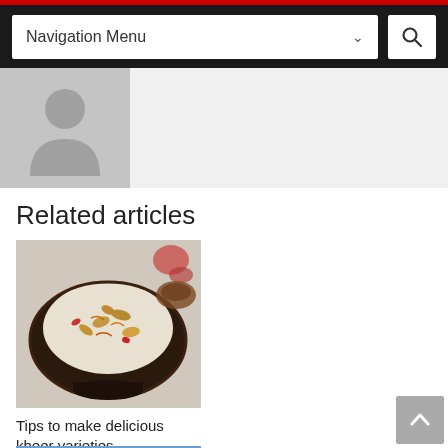Navigation Menu
[Figure (photo): Author avatar placeholder - grey silhouette on grey background]
Related articles
[Figure (photo): A bowl of kheer (Indian rice pudding) garnished with nuts and saffron, in a dark bowl on a marble surface]
Tips to make delicious kheer varieties
[Figure (photo): A house exterior with blue sky and green trees in background]